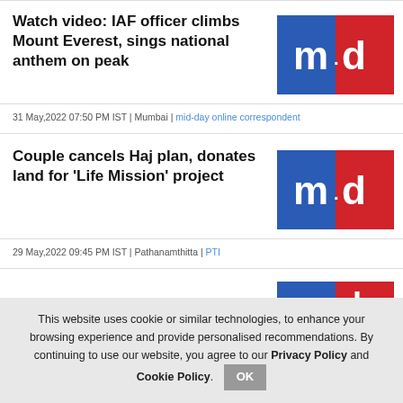Watch video: IAF officer climbs Mount Everest, sings national anthem on peak
[Figure (logo): mid-day logo: blue and red squares with m·d text]
31 May,2022 07:50 PM IST | Mumbai | mid-day online correspondent
Couple cancels Haj plan, donates land for 'Life Mission' project
[Figure (logo): mid-day logo: blue and red squares with m·d text]
29 May,2022 09:45 PM IST | Pathanamthitta | PTI
[Figure (logo): mid-day logo: blue and red squares partial view]
This website uses cookie or similar technologies, to enhance your browsing experience and provide personalised recommendations. By continuing to use our website, you agree to our Privacy Policy and Cookie Policy.